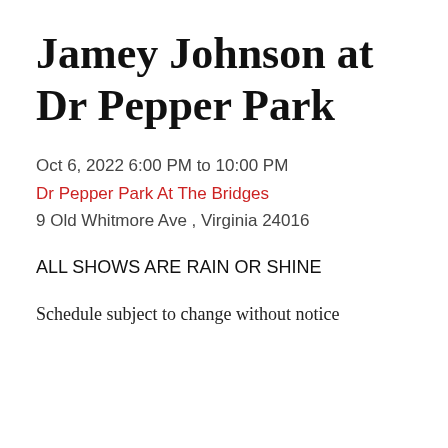Jamey Johnson at Dr Pepper Park
Oct 6, 2022 6:00 PM to 10:00 PM
Dr Pepper Park At The Bridges
9 Old Whitmore Ave , Virginia 24016
ALL SHOWS ARE RAIN OR SHINE
Schedule subject to change without notice